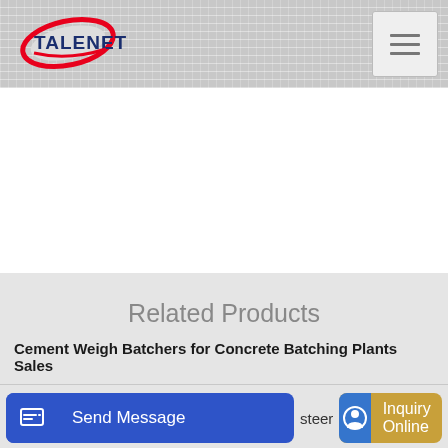TALENET
Related Products
Cement Weigh Batchers for Concrete Batching Plants Sales
Concrete mixer network
steer
Send Message
Inquiry Online